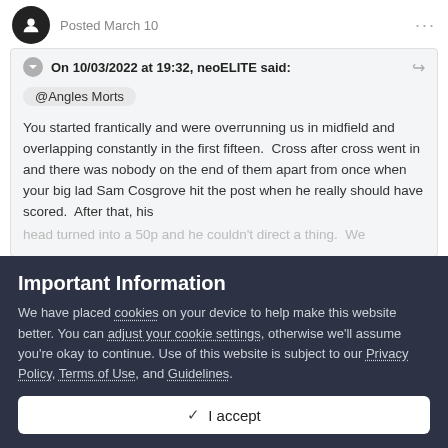Posted March 10
On 10/03/2022 at 19:32, neoELITE said:
@Angles Morts
You started frantically and were overrunning us in midfield and overlapping constantly in the first fifteen.  Cross after cross went in and there was nobody on the end of them apart from once when your big lad Sam Cosgrove hit the post when he really should have scored.  After that, his head turned into a 50p and he couldn't direct a thing.  We
Important Information
We have placed cookies on your device to help make this website better. You can adjust your cookie settings, otherwise we'll assume you're okay to continue. Use of this website is subject to our Privacy Policy, Terms of Use, and Guidelines.
✓  I accept